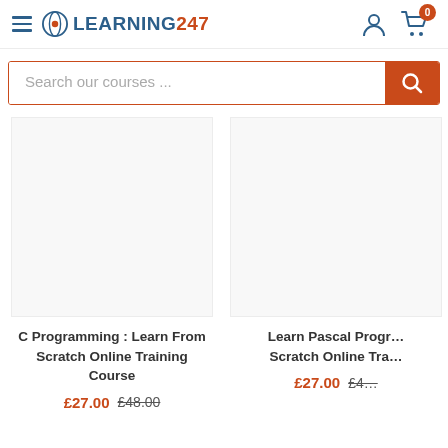[Figure (screenshot): Learning247 website header with hamburger menu icon, logo, user icon, and cart icon with 0 badge]
Search our courses ...
C Programming : Learn From Scratch Online Training Course
£27.00  £48.00
Learn Pascal Progr... Scratch Online Tra...
£27.00  £4...